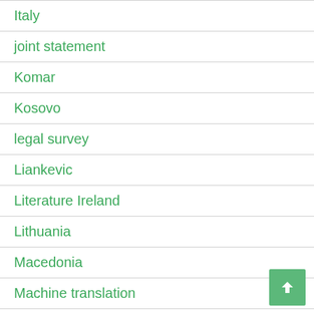Italy
joint statement
Komar
Kosovo
legal survey
Liankevic
Literature Ireland
Lithuania
Macedonia
Machine translation
Mexico
Miadzvedzeu
Montenegro